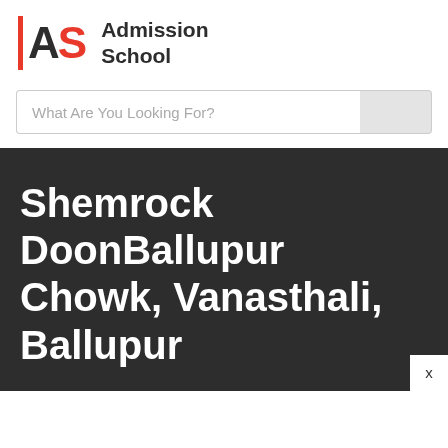[Figure (logo): Admission School logo with red vertical bar, 'AS' letters in dark/red, and 'Admission School' text in dark bold]
What Are You Looking For?
Shemrock DoonBallupur Chowk, Vanasthali, Ballupur